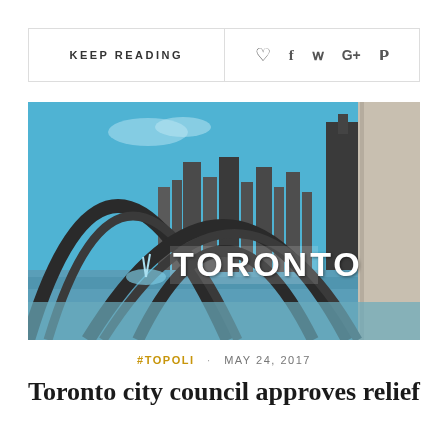KEEP READING  ♡  f  𝕎  G+  𝗣
[Figure (photo): Photo of the Toronto sign at Nathan Phillips Square, viewed through arched sculptures, with city skyline and blue sky in background]
#TOPOLI · MAY 24, 2017
Toronto city council approves relief